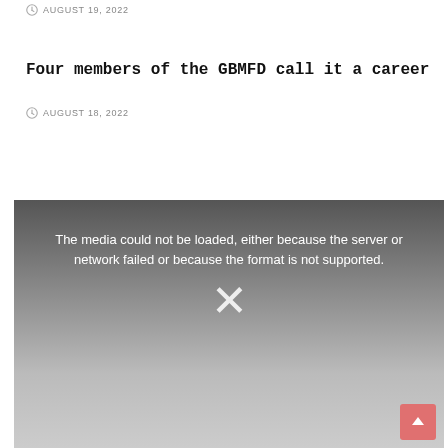AUGUST 19, 2022
Four members of the GBMFD call it a career
AUGUST 18, 2022
[Figure (screenshot): Media player error screen with gradient grey background showing text: 'The media could not be loaded, either because the server or network failed or because the format is not supported.' with a large X icon below.]